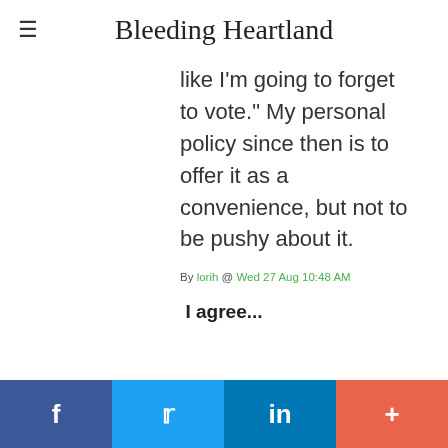Bleeding Heartland
like I'm going to forget to vote." My personal policy since then is to offer it as a convenience, but not to be pushy about it.
By lorih @ Wed 27 Aug 10:48 AM
I agree...